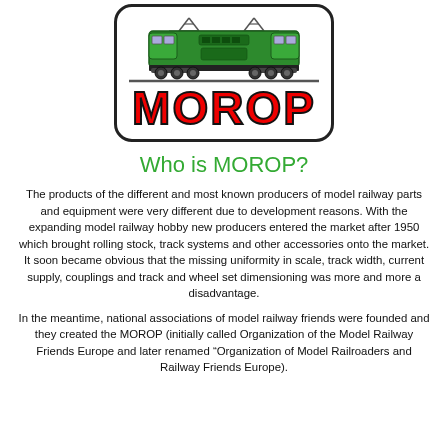[Figure (logo): MOROP logo: green electric locomotive above bold red MOROP text, inside a rounded rectangle border]
Who is MOROP?
The products of the different and most known producers of model railway parts and equipment were very different due to development reasons. With the expanding model railway hobby new producers entered the market after 1950 which brought rolling stock, track systems and other accessories onto the market. It soon became obvious that the missing uniformity in scale, track width, current supply, couplings and track and wheel set dimensioning was more and more a disadvantage.
In the meantime, national associations of model railway friends were founded and they created the MOROP (initially called Organization of the Model Railway Friends Europe and later renamed “Organization of Model Railroaders and Railway Friends Europe).